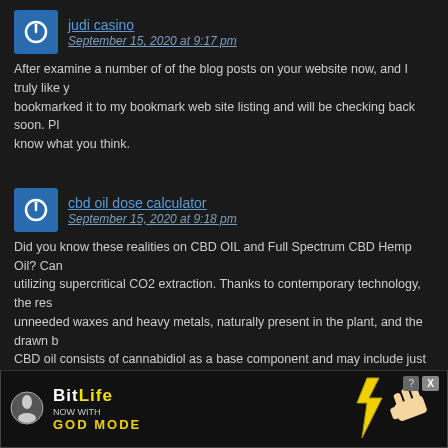judi casino
September 15, 2020 at 9:17 pm
After examine a number of of the blog posts on your website now, and I truly like your way of blogging. I bookmarked it to my bookmark web site listing and will be checking back soon. Pls check out my web site as well and let me know what you think.
cbd oil dose calculator
September 15, 2020 at 9:18 pm
Did you know these realities on CBD OIL and Full Spectrum CBD Hemp Oil? Cannab... utilizing supercritical CO2 extraction. Thanks to contemporary technology, the res... unneeded waxes and heavy metals, naturally present in the plant, and the drawn b... CBD oil consists of cannabidiol as a base component and may include just trace c... (THC). It is suggested by medical professionals and pharmacists as an antioxidan... of proinflammatory cytokines (proteins), e.g. in Crohn's illness or ulcerative intesti... material, while high THC. The synergistic (enhancing) action of CBD and THC rel... cannabinoids can do much more together than when utilized individually. Both ma... include other cannabinoids, such as cannabichromene (CBC) and cannabigerol (C... CBD frequently has a composition broadened to include flavones, flavonoids, terp... omega acids. The difference is mainly due to motives directing humanity to utilize ... marijuana oil is a rather advantageous blend of cannabinoid...ped to protect... to utilize a...enclosed in... that cann...cannabigero... enhance...highly nurtu... which an...elanement s...
[Figure (screenshot): BitLife advertisement overlay with 'NOW WITH GOD MODE' text and a hand pointing, with close X button]